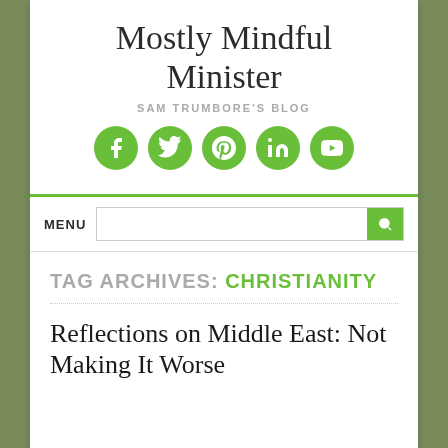Mostly Mindful Minister
SAM TRUMBORE'S BLOG
[Figure (infographic): Five green circular social media icons: Facebook, Twitter, Pinterest, LinkedIn, YouTube]
MENU
TAG ARCHIVES: CHRISTIANITY
Reflections on Middle East: Not Making It Worse